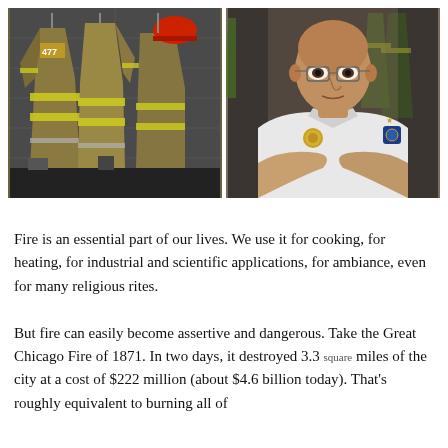[Figure (photo): Two side-by-side photographs: left shows firefighter turnout gear (jackets numbered 477) hanging on hooks against a concrete block wall; right shows a bald firefighter official in a white uniform shirt with badge and insignia, arms crossed, standing in front of firefighting gear.]
Fire is an essential part of our lives. We use it for cooking, for heating, for industrial and scientific applications, for ambiance, even for many religious rites.
But fire can easily become assertive and dangerous. Take the Great Chicago Fire of 1871. In two days, it destroyed 3.3 square miles of the city at a cost of $222 million (about $4.6 billion today). That's roughly equivalent to burning all of